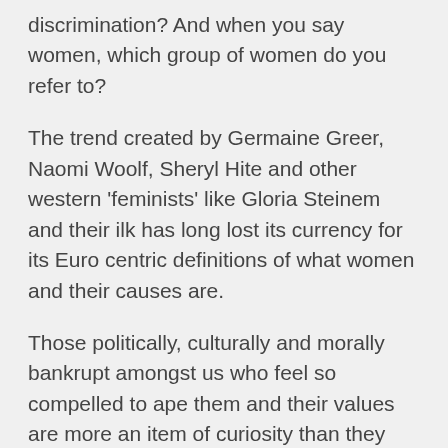discrimination? And when you say women, which group of women do you refer to?
The trend created by Germaine Greer, Naomi Woolf, Sheryl Hite and other western 'feminists' like Gloria Steinem and their ilk has long lost its currency for its Euro centric definitions of what women and their causes are.
Those politically, culturally and morally bankrupt amongst us who feel so compelled to ape them and their values are more an item of curiosity than they are of relevance or significance to our ways of life.
Let merit alone be the criteria and not a casualty. To have women by means of positive discrimination is to agree to the NEP which is